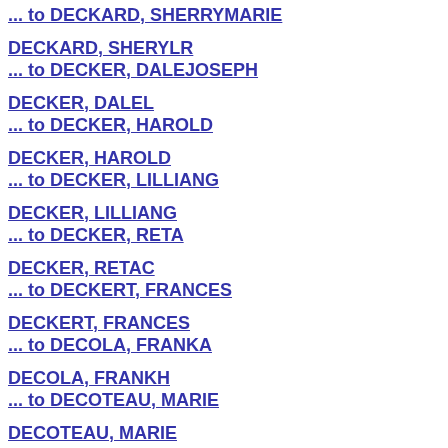... to DECKARD, SHERRYMARIE
DECKARD, SHERYLR
... to DECKER, DALEJOSEPH
DECKER, DALEL
... to DECKER, HAROLD
DECKER, HAROLD
... to DECKER, LILLIANG
DECKER, LILLIANG
... to DECKER, RETA
DECKER, RETAC
... to DECKERT, FRANCES
DECKERT, FRANCES
... to DECOLA, FRANKA
DECOLA, FRANKH
... to DECOTEAU, MARIE
DECOTEAU, MARIE
... to DECUZZI, JAMES